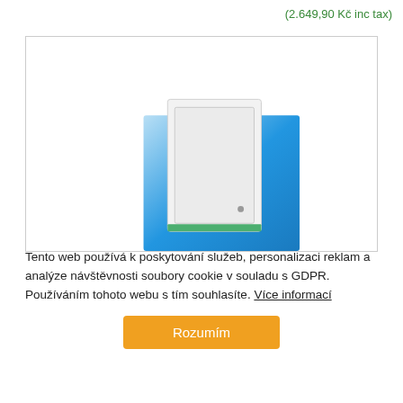(2.649,90 Kč inc tax)
[Figure (photo): White rectangular RFID/access control reader device on a blue gradient background, shown inside a bordered product display box]
Tento web používá k poskytování služeb, personalizaci reklam a analýze návštěvnosti soubory cookie v souladu s GDPR. Používáním tohoto webu s tím souhlasíte. Více informací
Rozumím